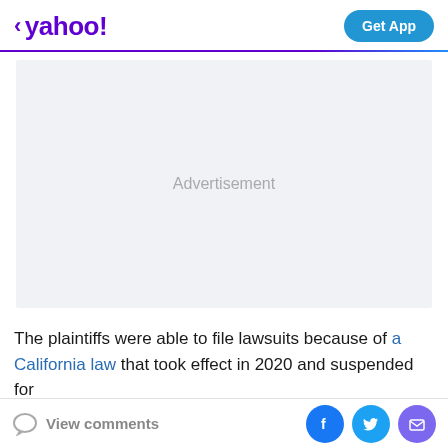< yahoo!  Get App
[Figure (other): Advertisement placeholder box with light gray background]
The plaintiffs were able to file lawsuits because of a California law that took effect in 2020 and suspended for
View comments  [Facebook] [Twitter] [Mail]